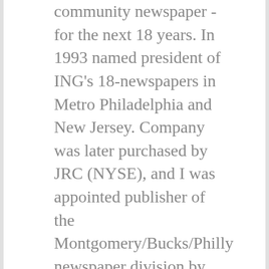community newspaper - for the next 18 years. In 1993 named president of ING's 18-newspapers in Metro Philadelphia and New Jersey. Company was later purchased by JRC (NYSE), and I was appointed publisher of the Montgomery/Bucks/Philly newspaper division by the infamous Journal Register CEO Bob Jelenic. During the 60s and 70s, I corresponded for the United States Information Agency, reporting and writing for publication in foreign countries. This